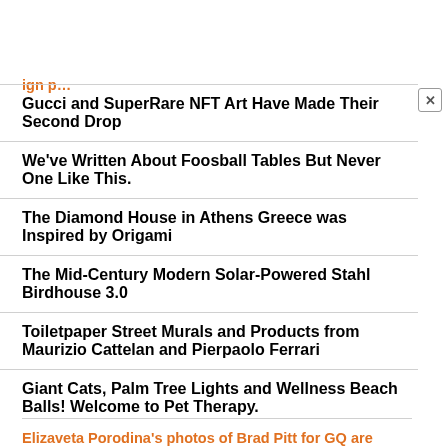Gucci and SuperRare NFT Art Have Made Their Second Drop
We've Written About Foosball Tables But Never One Like This.
The Diamond House in Athens Greece was Inspired by Origami
The Mid-Century Modern Solar-Powered Stahl Birdhouse 3.0
Toiletpaper Street Murals and Products from Maurizio Cattelan and Pierpaolo Ferrari
Giant Cats, Palm Tree Lights and Wellness Beach Balls! Welcome to Pet Therapy.
Elizaveta Porodina's photos of Brad Pitt for GQ are...